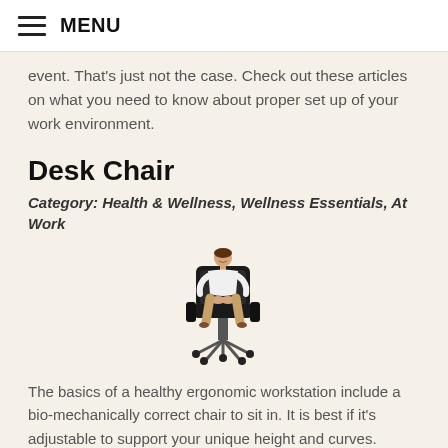MENU
event. That's just not the case. Check out these articles on what you need to know about proper set up of your work environment.
Desk Chair
Category: Health & Wellness, Wellness Essentials, At Work
[Figure (photo): A woman in business attire sitting in a black ergonomic office chair with wheels, smiling, hands crossed in her lap]
The basics of a healthy ergonomic workstation include a bio-mechanically correct chair to sit in. It is best if it's adjustable to support your unique height and curves. Humanscale offers a variety of seating options designed to keep you healthy and well while you are working. These products are an investment.